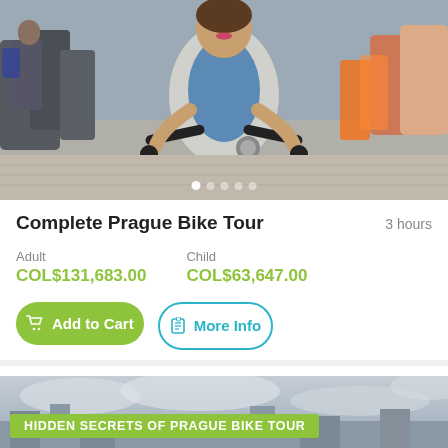[Figure (photo): Woman on a bicycle in a Prague city square, cobblestone street, crowd of people in background, grey cardigan and blue denim shirt]
Complete Prague Bike Tour
3 hours
Adult
COL$131,683.00
Child
COL$63,647.00
Add to Cart
More Info
[Figure (photo): Partially visible photo with green banner overlay reading HIDDEN SECRETS OF PRAGUE BIKE TOUR, cloudy sky visible]
HIDDEN SECRETS OF PRAGUE BIKE TOUR